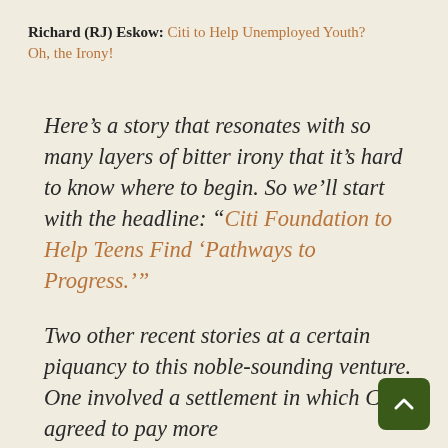Richard (RJ) Eskow: Citi to Help Unemployed Youth? Oh, the Irony!
Here’s a story that resonates with so many layers of bitter irony that it’s hard to know where to begin. So we’ll start with the headline: “Citi Foundation to Help Teens Find ‘Pathways to Progress.’”
Two other recent stories at a certain piquancy to this noble-sounding venture. One involved a settlement in which Citi agreed to pay more